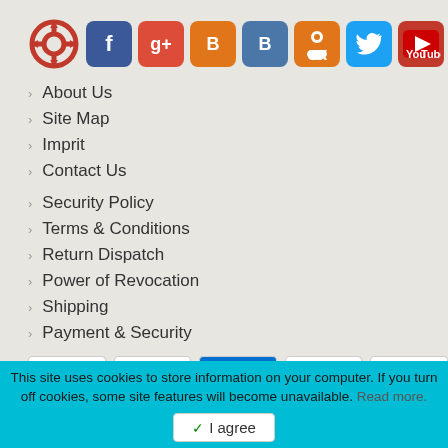[Figure (logo): Social media icons row: target/crosshair logo, Facebook, Google+, Blogger, VKontakte, Odnoklassniki, Twitter, YouTube]
About Us
Site Map
Imprit
Contact Us
Security Policy
Terms & Conditions
Return Dispatch
Power of Revocation
Shipping
Payment & Security
[Figure (other): Payment method icons: MasterCard, Visa, American Express, Maestro, PayPal, Giropay, Lastschrift, Bank Transfer, direct debit, Cirrus]
This site uses cookies to store information on your computer. If you turn off cookies, some site features will become unavailable. Read more.
I agree